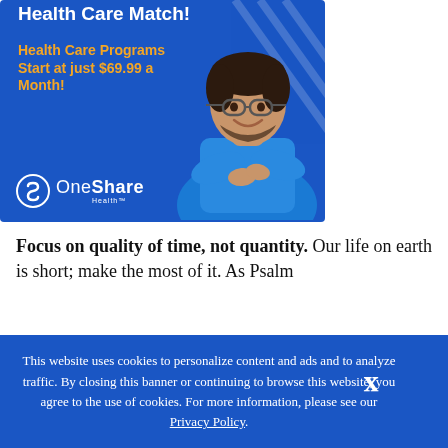[Figure (illustration): OneShare Health advertisement banner with blue background, showing a smiling man with glasses and crossed arms wearing a blue shirt. Text reads 'Health Care Match!' (partially visible at top), 'Health Care Programs Start at just $69.99 a Month!' in orange, and the OneShare Health logo in the lower left.]
Focus on quality of time, not quantity. Our life on earth is short; make the most of it. As Psalm
This website uses cookies to personalize content and ads and to analyze traffic. By closing this banner or continuing to browse this website, you agree to the use of cookies. For more information, please see our Privacy Policy.